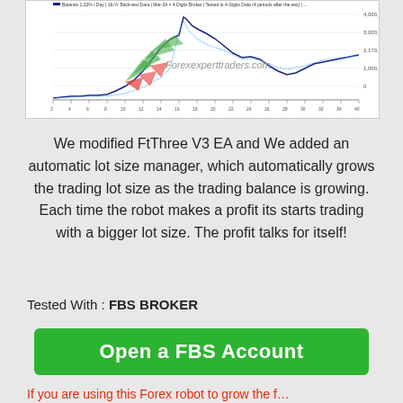[Figure (continuous-plot): Line chart showing trading balance growth over time with green/red candlestick-style arrows overlaid. Watermark reads 'Forexexperttraders.com'. Y-axis shows values around 1,000,000–4,000,000 range. X-axis shows time steps 1–40.]
We modified FtThree V3 EA and We added an automatic lot size manager, which automatically grows the trading lot size as the trading balance is growing. Each time the robot makes a profit its starts trading with a bigger lot size. The profit talks for itself!
Tested With : FBS BROKER
Open a FBS Account
If you are using this Forex robot to grow the f...